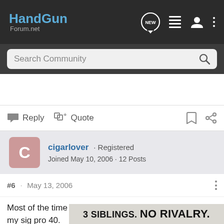HandGun Forum.net
Search Community
Reply   Quote
cigarlover · Registered
Joined May 10, 2006 · 12 Posts
#6 · May 13, 2006
Most of the time I carry a XD45. Somtimes I will carry my sig pro 40. [ad overlay] set holster. [ad overlay] er than
[Figure (other): Advertisement overlay reading '3 SIBLINGS. NO RIVALRY.']